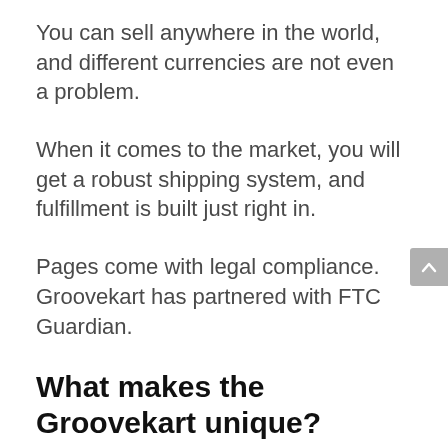You can sell anywhere in the world, and different currencies are not even a problem.
When it comes to the market, you will get a robust shipping system, and fulfillment is built just right in.
Pages come with legal compliance. Groovekart has partnered with FTC Guardian.
What makes the Groovekart unique?
I love the following features that make Groovekart different from each other.